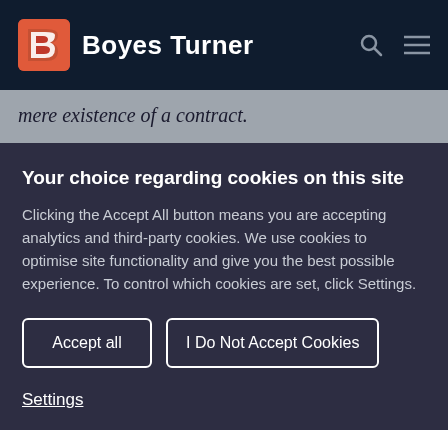[Figure (logo): Boyes Turner logo with red stylized B icon and white text 'Boyes Turner' on dark navy background, with search and menu icons on the right]
mere existence of a contract.
Your choice regarding cookies on this site
Clicking the Accept All button means you are accepting analytics and third-party cookies. We use cookies to optimise site functionality and give you the best possible experience. To control which cookies are set, click Settings.
Accept all
I Do Not Accept Cookies
Settings